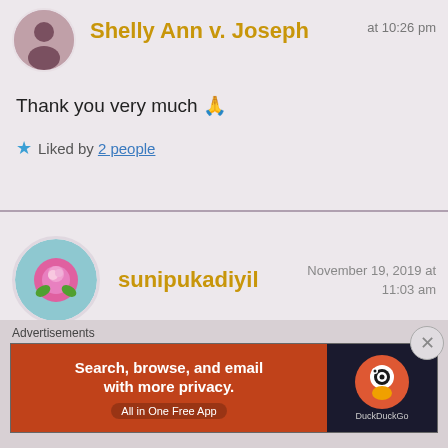Shelly Ann v. Joseph  at 10:26 pm
Thank you very much 🙏
★ Liked by 2 people
sunipukadiyil  November 19, 2019 at 11:03 am
Our hunger for life will make us move in leaps and
[Figure (screenshot): DuckDuckGo advertisement banner: Search, browse, and email with more privacy. All in One Free App]
Advertisements